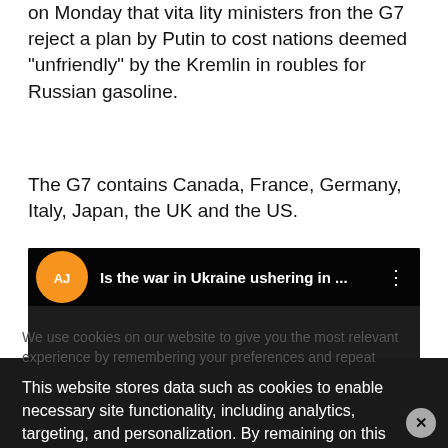on Monday that vitality ministers from the G7 reject a plan by Putin to cost nations deemed “unfriendly” by the Kremlin in roubles for Russian gasoline.
The G7 contains Canada, France, Germany, Italy, Japan, the UK and the US.
[Figure (screenshot): Al Jazeera video embed with title 'Is the war in Ukraine ushering in ...' on dark background with orange logo]
We use cookies on our website to give you the most relevant experience by remembering your preferences and repeat visits. By clicking "Accept All", you consent to the use of ALL the cookies. However, you may visit "Cookie Settings" to provide a controlled consent.
This website stores data such as cookies to enable necessary site functionality, including analytics, targeting, and personalization. By remaining on this website you indicate your consent Cookie Policy